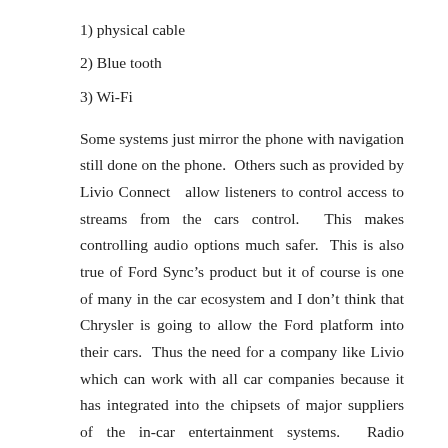1)  physical cable
2) Blue tooth
3) Wi-Fi
Some systems just mirror the phone with navigation still done on the phone.  Others such as provided by Livio Connect  allow listeners to control access to streams from the cars control.  This makes controlling audio options much safer.  This is also true of Ford Sync’s product but it of course is one of many in the car ecosystem and I don’t think that Chrysler is going to allow the Ford platform into their cars.  Thus the need for a company like Livio which can work with all car companies because it has integrated into the chipsets of major suppliers of the in-car entertainment systems.  Radio companies should leave getting connected in the car to auto industry experts given the vast, confusing